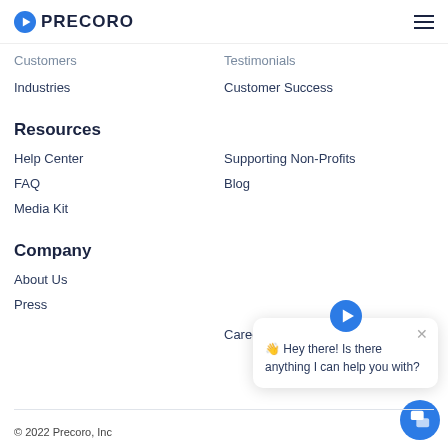PRECORO
Customers
Testimonials
Industries
Customer Success
Resources
Help Center
Supporting Non-Profits
FAQ
Blog
Media Kit
Company
About Us
Press
Careers
[Figure (screenshot): Chat popup widget with Precoro logo icon and message: Hey there! Is there anything I can help you with?]
© 2022 Precoro, Inc